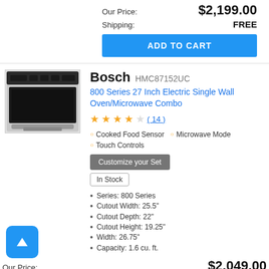Our Price: $2,199.00
Shipping: FREE
ADD TO CART
[Figure (photo): Bosch stainless steel wall oven/microwave combo unit]
Bosch HMC87152UC
800 Series 27 Inch Electric Single Wall Oven/Microwave Combo
★★★★☆ ( 14 )
Cooked Food Sensor
Microwave Mode
Touch Controls
Customize your Set
In Stock
Series: 800 Series
Cutout Width: 25.5"
Cutout Depth: 22"
Cutout Height: 19.25"
Width: 26.75"
Capacity: 1.6 cu. ft.
Our Price: $2,049.00